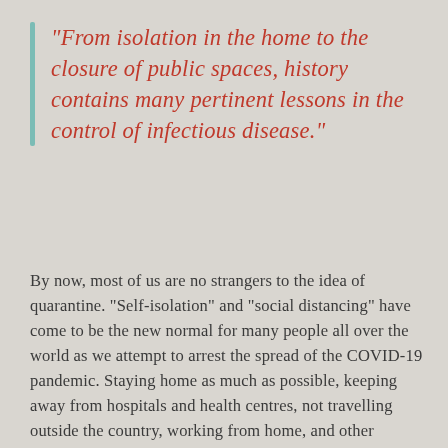“From isolation in the home to the closure of public spaces, history contains many pertinent lessons in the control of infectious disease.”
By now, most of us are no strangers to the idea of quarantine. “Self-isolation” and “social distancing” have come to be the new normal for many people all over the world as we attempt to arrest the spread of the COVID-19 pandemic. Staying home as much as possible, keeping away from hospitals and health centres, not travelling outside the country, working from home, and other measures which all seem new and unprecedented in our own lives are no strangers to history, as we implement